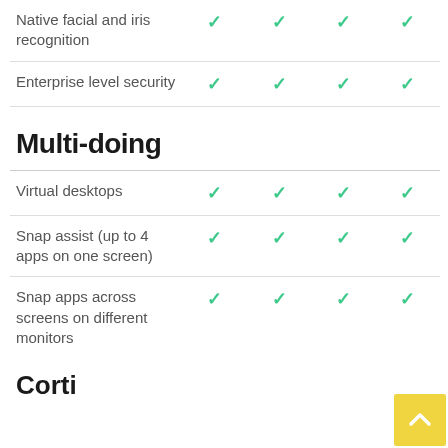| Feature |  |  |  |  |
| --- | --- | --- | --- | --- |
| Native facial and iris recognition | ✓ | ✓ | ✓ | ✓ |
| Enterprise level security | ✓ | ✓ | ✓ | ✓ |
Multi-doing
| Feature |  |  |  |  |
| --- | --- | --- | --- | --- |
| Virtual desktops | ✓ | ✓ | ✓ | ✓ |
| Snap assist (up to 4 apps on one screen) | ✓ | ✓ | ✓ | ✓ |
| Snap apps across screens on different monitors | ✓ | ✓ | ✓ | ✓ |
Cortio…